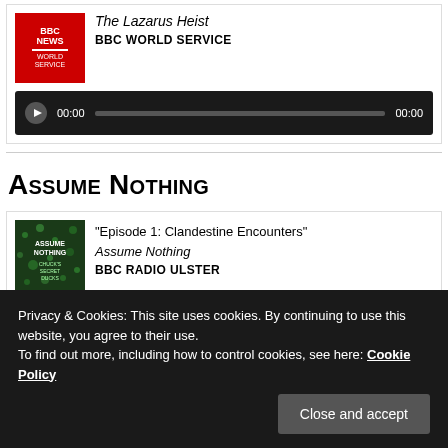[Figure (screenshot): BBC News World Service podcast thumbnail — red background with BBC NEWS WORLD SERVICE text in white]
The Lazarus Heist
BBC WORLD SERVICE
[Figure (screenshot): Audio player with play button, 00:00 time code, grey progress bar, and 00:00 end time on dark background]
Assume Nothing
[Figure (screenshot): Assume Nothing podcast thumbnail — dark green background with ASSUME NOTHING and CHUCK'S SECRET DUCKS text]
“Episode 1: Clandestine Encounters”
Assume Nothing
BBC RADIO ULSTER
Privacy & Cookies: This site uses cookies. By continuing to use this website, you agree to their use.
To find out more, including how to control cookies, see here: Cookie Policy
Close and accept